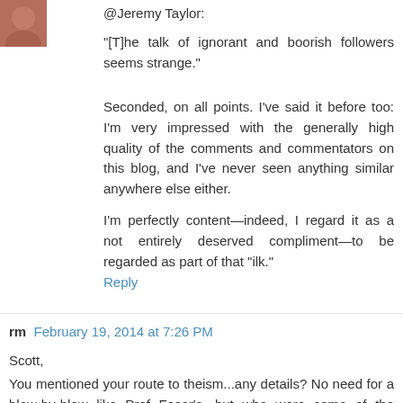[Figure (photo): Small avatar photo of a person, reddish tones, top-left corner]
@Jeremy Taylor:
"[T]he talk of ignorant and boorish followers seems strange."
Seconded, on all points. I've said it before too: I'm very impressed with the generally high quality of the comments and commentators on this blog, and I've never seen anything similar anywhere else either.
I'm perfectly content—indeed, I regard it as a not entirely deserved compliment—to be regarded as part of that "ilk."
Reply
rm  February 19, 2014 at 7:26 PM
Scott,
You mentioned your route to theism...any details? No need for a blow-by-blow like Prof Feser's, but who were some of the thinkers who first caught your attention?